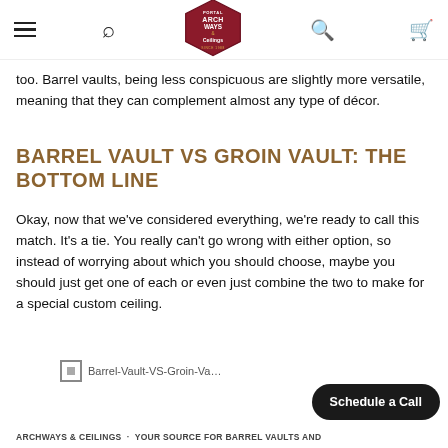Archways & Ceilings (logo/navigation bar)
too. Barrel vaults, being less conspicuous are slightly more versatile, meaning that they can complement almost any type of décor.
BARREL VAULT VS GROIN VAULT: THE BOTTOM LINE
Okay, now that we've considered everything, we're ready to call this match. It's a tie. You really can't go wrong with either option, so instead of worrying about which you should choose, maybe you should just get one of each or even just combine the two to make for a special custom ceiling.
[Figure (photo): Barrel-Vault-VS-Groin-Vault image (partially visible/broken image placeholder)]
Schedule a Call
ARCHWAYS & CEILINGS · YOUR SOURCE FOR BARREL VAULTS AND